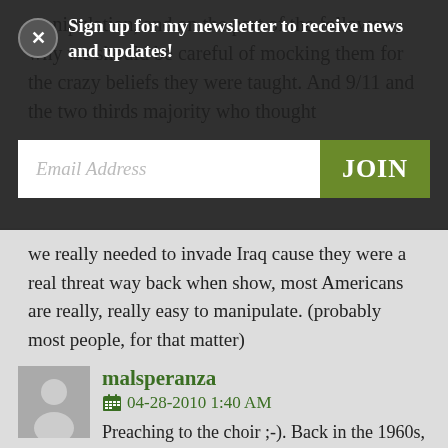manipulation, and on the part of the followers, why we should be careful of mocking them for the crazy beliefs they were taught. And 9/11 and the two thirds majority who thought we really needed to invade Iraq cause they were a real threat way back when show, most Americans are really, really easy to manipulate. (probably most people, for that matter)
Sign up for my newsletter to receive news and updates!
Email Address
JOIN
malsperanza
04-28-2010 1:40 AM
Preaching to the choir ;-). Back in the 1960s, the same folks were warning against the dangers of fluoride in the water and the UN's World Government agenda. But I don't underestimate the degree to which, in America, even nutjobbery is a way of masking pure, simple, old fashioned racism.